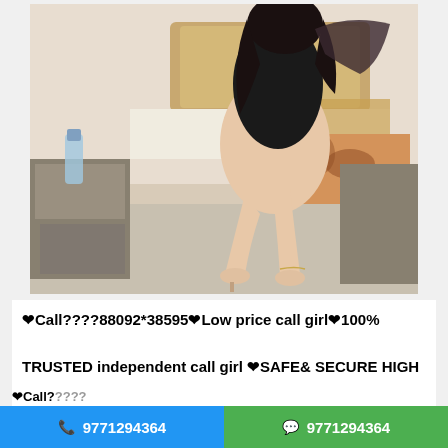[Figure (photo): A woman in a black dress sitting on a hotel bed with decorative headboard and bedside furniture]
❤Call????88092*38595❤Low price call girl❤100% TRUSTED independent call girl ❤SAFE& SECURE HIGH CLASS
❤Call?? ... 100%
9771294364
9771294364